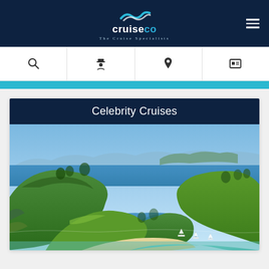[Figure (logo): CruiseCo - The Cruise Specialists logo with wave icon on dark navy background, with hamburger menu icon on the right]
[Figure (infographic): Navigation icon bar with four icons: search (magnifying glass), captain/sailor figure, anchor/pin icon, and a document/ID icon]
Celebrity Cruises
[Figure (photo): Aerial photo of New Zealand Bay of Islands coastline showing lush green hills, blue ocean waters, a sandy beach with sailboats, and islands in the background]